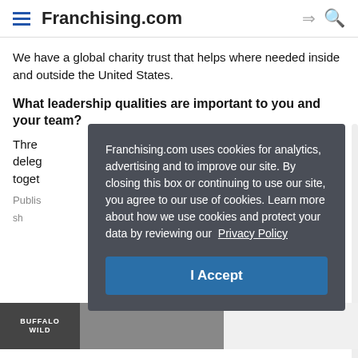Franchising.com
We have a global charity trust that helps where needed inside and outside the United States.
What leadership qualities are important to you and your team?
Thre... dele... toget...
Publis...
[Figure (screenshot): Cookie consent overlay on Franchising.com: 'Franchising.com uses cookies for analytics, advertising and to improve our site. By closing this box or continuing to use our site, you agree to our use of cookies. Learn more about how we use cookies and protect your data by reviewing our Privacy Policy' with an 'I Accept' button.]
[Figure (photo): Buffalo Wild Wings advertisement banner at the bottom of the page.]